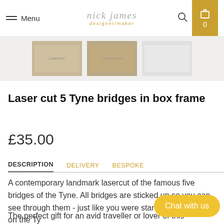Menu | nick james designer/maker | Search | Cart 0
[Figure (photo): Three thumbnail product images of laser cut Tyne bridges in box frame]
Laser cut 5 Tyne bridges in box frame
£35.00
DESCRIPTION  DELIVERY  BESPOKE
A contemporary landmark lasercut of the famous five bridges of the Tyne. All bridges are sticked up so you can see through them - just like you were standing on a boat on the Ty...
The perfect gift for an avid traveller or lover of this wonderful city. This lasercut